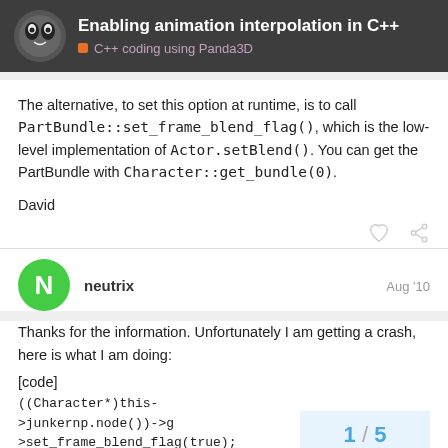Enabling animation interpolation in C++ | C++ coding using Panda3D
The alternative, to set this option at runtime, is to call PartBundle::set_frame_blend_flag(), which is the low-level implementation of Actor.setBlend(). You can get the PartBundle with Character::get_bundle(0).

David
neutrix  Aug '10
Thanks for the information. Unfortunately I am getting a crash, here is what I am doing:
[code]
((Character*)this->junkernp.node())->set_frame_blend_flag(true);